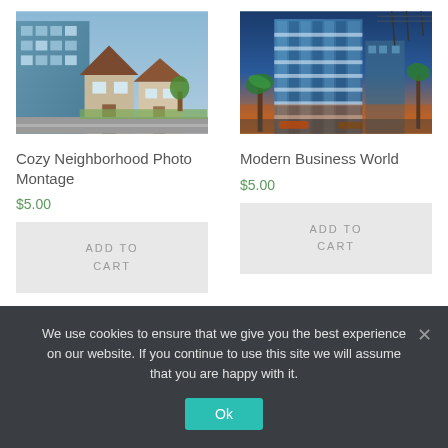[Figure (photo): Cozy neighborhood houses photo montage with suburban homes and blue-tinted sky]
Cozy Neighborhood Photo Montage
$5.00
ADD TO CART
[Figure (photo): Modern business world photo montage with glass office building and palm trees at dusk]
Modern Business World
$5.00
ADD TO CART
We use cookies to ensure that we give you the best experience on our website. If you continue to use this site we will assume that you are happy with it.
Ok